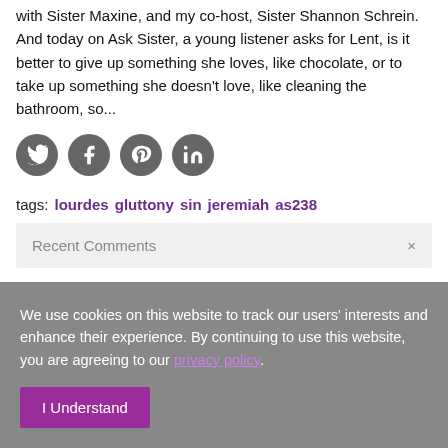with Sister Maxine, and my co-host, Sister Shannon Schrein. And today on Ask Sister, a young listener asks for Lent, is it better to give up something she loves, like chocolate, or to take up something she doesn't love, like cleaning the bathroom, so...
[Figure (infographic): Four dark grey circular social media icon buttons: Twitter (bird), Facebook (f), Pinterest (P), LinkedIn (in)]
tags: lourdes  gluttony  sin  jeremiah  as238
Recent Comments  ×
We use cookies on this website to track our users' interests and enhance their experience. By continuing to use this website, you are agreeing to our privacy policy.
I Understand